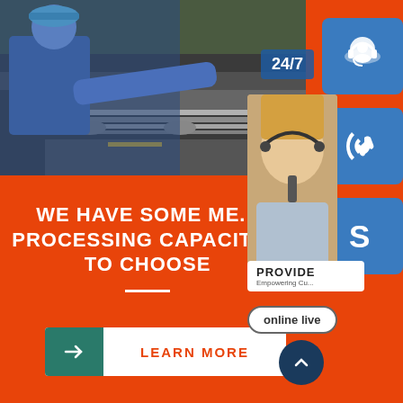[Figure (photo): Worker in blue uniform leaning over industrial metal processing machinery with sheet metal]
[Figure (infographic): Right side panel with 24/7 badge, customer service representative photo, three blue icon boxes (headset, phone, Skype S logo), PROVIDE Empowering Customers banner, online live button, and scroll-up arrow circle]
WE HAVE SOME ME... PROCESSING CAPACITY... TO CHOOSE
LEARN MORE